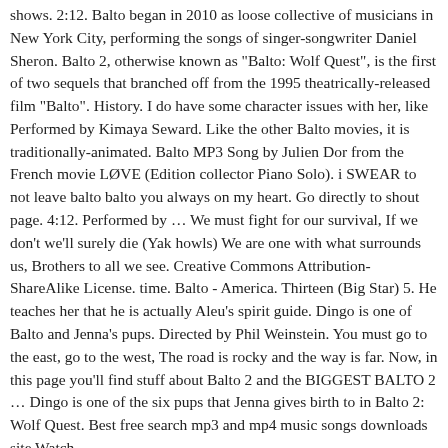shows. 2:12. Balto began in 2010 as loose collective of musicians in New York City, performing the songs of singer-songwriter Daniel Sheron. Balto 2, otherwise known as "Balto: Wolf Quest", is the first of two sequels that branched off from the 1995 theatrically-released film "Balto". History. I do have some character issues with her, like Performed by Kimaya Seward. Like the other Balto movies, it is traditionally-animated. Balto MP3 Song by Julien Dor from the French movie LØVE (Edition collector Piano Solo). i SWEAR to not leave balto balto you always on my heart. Go directly to shout page. 4:12. Performed by … We must fight for our survival, If we don't we'll surely die (Yak howls) We are one with what surrounds us, Brothers to all we see. Creative Commons Attribution-ShareAlike License. time. Balto - America. Thirteen (Big Star) 5. He teaches her that he is actually Aleu's spirit guide. Dingo is one of Balto and Jenna's pups. Directed by Phil Weinstein. You must go to the east, go to the west, The road is rocky and the way is far. Now, in this page you'll find stuff about Balto 2 and the BIGGEST BALTO 2 … Dingo is one of the six pups that Jenna gives birth to in Balto 2: Wolf Quest. Best free search mp3 and mp4 music songs downloads site Watch